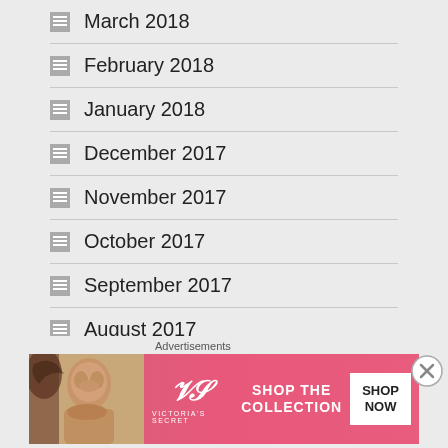March 2018
February 2018
January 2018
December 2017
November 2017
October 2017
September 2017
August 2017
Advertisements
[Figure (illustration): Victoria's Secret advertisement banner with model, VS logo, 'SHOP THE COLLECTION' text and 'SHOP NOW' button]